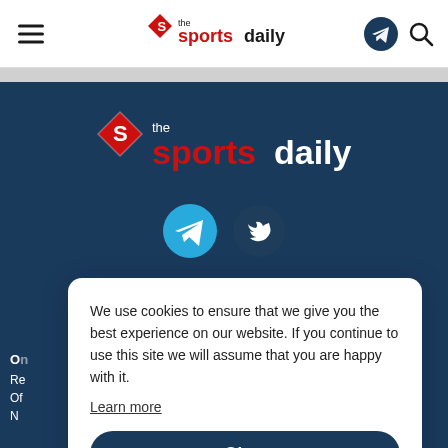the sportsdaily — header navigation with hamburger menu, logo, telegram and search icons
[Figure (logo): The Sports Daily logo centered in dark navy blue section with telegram and twitter social icons below]
We use cookies to ensure that we give you the best experience on our website. If you continue to use this site we will assume that you are happy with it.
Learn more
Okay